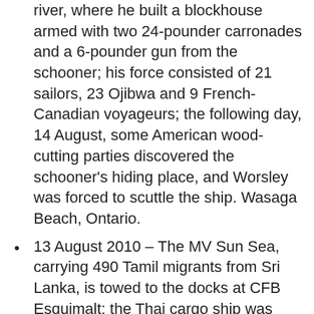river, where he built a blockhouse armed with two 24-pounder carronades and a 6-pounder gun from the schooner; his force consisted of 21 sailors, 23 Ojibwa and 9 French-Canadian voyageurs; the following day, 14 August, some American wood-cutting parties discovered the schooner’s hiding place, and Worsley was forced to scuttle the ship. Wasaga Beach, Ontario.
13 August 2010 – The MV Sun Sea, carrying 490 Tamil migrants from Sri Lanka, is towed to the docks at CFB Esquimalt; the Thai cargo ship was intercepted off Vancouver Island on 12 August; the Tamils are moved to detention centres in the Vancouver area to await processing of their refugee claims.
14 Aug 1945 – Japan offers its unconditional surrender.
14 Aug 2008 – Leading Seaman Robert Tooder